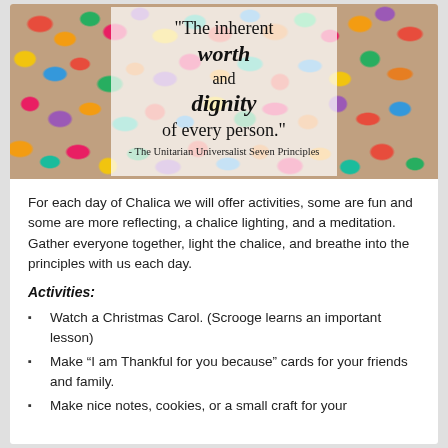[Figure (illustration): Photo of colorful jelly beans with a semi-transparent white overlay box containing a quote: "The inherent worth and dignity of every person." - The Unitarian Universalist Seven Principles]
For each day of Chalica we will offer activities, some are fun and some are more reflecting, a chalice lighting, and a meditation. Gather everyone together, light the chalice, and breathe into the principles with us each day.
Activities:
Watch a Christmas Carol. (Scrooge learns an important lesson)
Make “I am Thankful for you because” cards for your friends and family.
Make nice notes, cookies, or a small craft for your